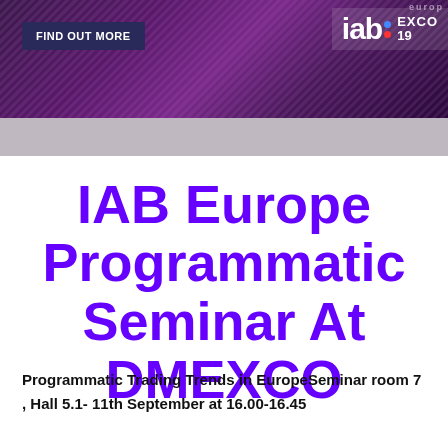[Figure (other): IAB Europe EXCO 2019 banner header with purple gradient background, 'FIND OUT MORE' button, and IAB Europe logo with EXCO 19 label]
IAB Europe Programmatic Seminar At DMEXCO
Programmatic Trading Trends in EuropeSeminar room 7, Hall 5.1- 11th September at 16.00-16.45